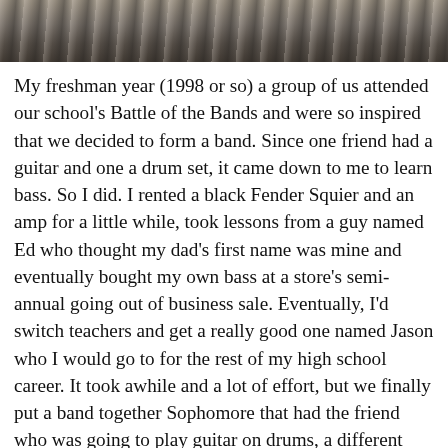[Figure (photo): Top portion of a photo showing dark hair or fabric texture, partially cropped, with muted brown and grey tones]
My freshman year (1998 or so) a group of us attended our school's Battle of the Bands and were so inspired that we decided to form a band. Since one friend had a guitar and one a drum set, it came down to me to learn bass. So I did. I rented a black Fender Squier and an amp for a little while, took lessons from a guy named Ed who thought my dad's first name was mine and eventually bought my own bass at a store's semi-annual going out of business sale. Eventually, I'd switch teachers and get a really good one named Jason who I would go to for the rest of my high school career. It took awhile and a lot of effort, but we finally put a band together Sophomore that had the friend who was going to play guitar on drums, a different singer, a new friend on guitar and the one who was going to play drums too busy to participate because he was doing musicals. We practiced a lot, went through two lead singers (the musical dude eventually became the singer) and played a few parties, but nothing too fancy. It was a